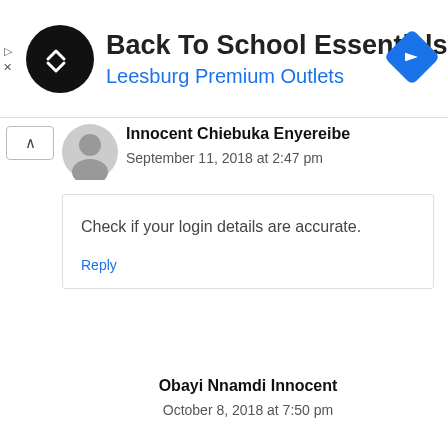[Figure (screenshot): Advertisement banner for Back To School Essentials at Leesburg Premium Outlets, showing a circular black logo with arrow icon and a blue diamond navigation icon on the right.]
Back To School Essentials
Leesburg Premium Outlets
Innocent Chiebuka Enyereibe
September 11, 2018 at 2:47 pm
Check if your login details are accurate.
Reply
Obayi Nnamdi Innocent
October 8, 2018 at 7:50 pm